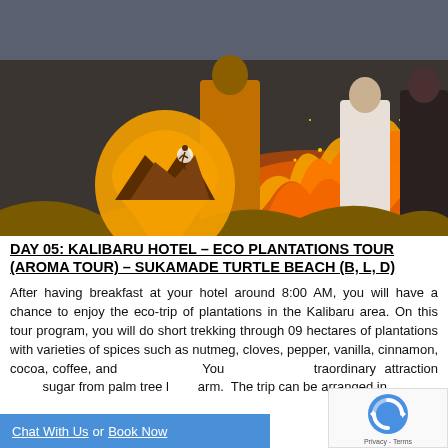50
[Figure (photo): People gathered around a fire at night with orange flames and sparks. A tour company logo (mountain silhouette inside an orange location pin shape) is overlaid on the left side of the image.]
DAY 05: KALIBARU HOTEL – ECO PLANTATIONS TOUR (AROMA TOUR) – SUKAMADE TURTLE BEACH (B, L, D)
After having breakfast at your hotel around 8:00 AM, you will have a chance to enjoy the eco-trip of plantations in the Kalibaru area. On this tour program, you will do short trekking through 09 hectares of plantations with varieties of spices such as nutmeg, cloves, pepper, vanilla, cinnamon, cocoa, coffee, and … You … extraordinary attraction … sugar from palm tree … arm. The trip can be arranged in
Chat With Us or Book Now